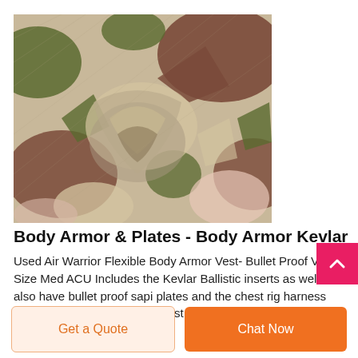[Figure (photo): Close-up photo of camouflage fabric with desert/woodland camouflage pattern in beige, olive green, and brown colors, fabric is folded and twisted]
Body Armor & Plates - Body Armor Kevlar
Used Air Warrior Flexible Body Armor Vest- Bullet Proof Vest- Size Med ACU Includes the Kevlar Ballistic inserts as well. I also have bullet proof sapi plates and the chest rig harness with pouches to go with the vest if you are interested. I can measure after 27"x14" close. Like...